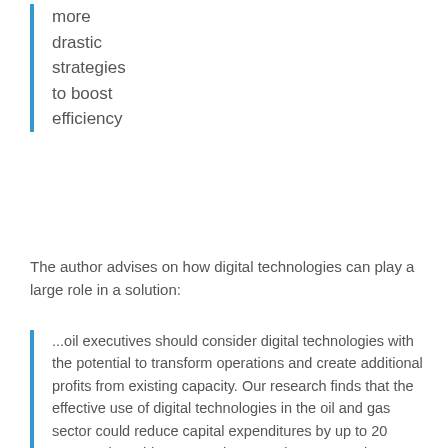more drastic strategies to boost efficiency
The author advises on how digital technologies can play a large role in a solution:
...oil executives should consider digital technologies with the potential to transform operations and create additional profits from existing capacity. Our research finds that the effective use of digital technologies in the oil and gas sector could reduce capital expenditures by up to 20 percent; it could cut operating costs in upstream by 3 to 5 percent and by about half that in downstream.